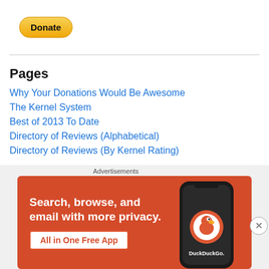[Figure (other): PayPal Donate button — yellow rounded rectangle with bold black text 'Donate']
Pages
Why Your Donations Would Be Awesome
The Kernel System
Best of 2013 To Date
Directory of Reviews (Alphabetical)
Directory of Reviews (By Kernel Rating)
Recent Posts
[Figure (screenshot): DuckDuckGo advertisement: orange background with white bold text 'Search, browse, and email with more privacy. All in One Free App' and a smartphone showing DuckDuckGo logo]